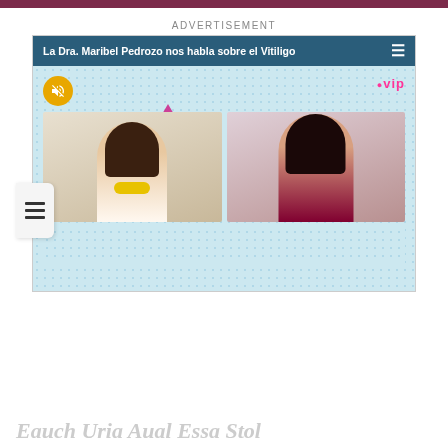ADVERTISEMENT
[Figure (screenshot): Video advertisement showing two women in a split-screen video call. Header reads 'La Dra. Maribel Pedrozo nos habla sobre el Vitiligo'. Contains VIP logo, mute button, and menu icon. The video player has a light blue dotted background with decorative blue and pink accents.]
Eauch Uria Aual Essa Stol